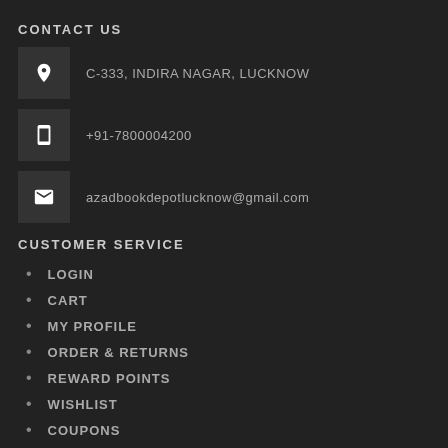CONTACT US
C-333, INDIRA NAGAR, LUCKNOW
+91-7800004200
azadbookdepotlucknow@gmail.com
CUSTOMER SERVICE
LOGIN
CART
MY PROFILE
ORDER & RETURNS
REWARD POINTS
WISHLIST
COUPONS